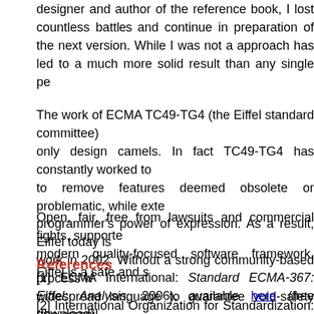designer and author of the reference book, I lost countless battles and continue in preparation of the next version. While I was not a... approach has led to a much more solid result than any single pe...
The work of ECMA TC49-TG4 (the Eiffel standard committee)... only design camels. In fact TC49-TG4 has constantly worked to... to remove features deemed obsolete or problematic, while exte... programmer's power of expression. As a result, Eiffel today is... work in 2002. Without a strong community-based process w... widespread language to guarantee void-safety (the compil... breakthrough for software reliability.
Open, fair, free from lawsuits and commercial fights, supporte... modern quality-focused software framework, Eiffel is a safe and s...
References
[1] ECMA International: Standard ECMA-367: Eiffel: Analysis,... 2006), available here (free download).
[2] International Organization for Standardization: ISO/IEC 2543... and Programming Language, available here (for a fee; same tex...